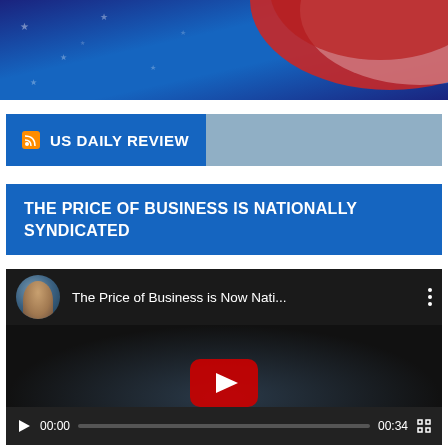[Figure (photo): Banner image with dark blue background with stars pattern and red/white curved arc element in upper right corner]
US DAILY REVIEW
THE PRICE OF BUSINESS IS NATIONALLY SYNDICATED
[Figure (screenshot): YouTube video player showing 'The Price of Business is Now Nati...' with a person thumbnail, YouTube play button overlay, MEDIA PARTNERS text watermark, and video controls showing 00:00 / 00:34]